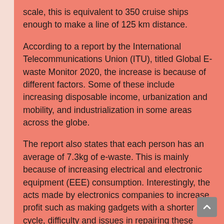scale, this is equivalent to 350 cruise ships enough to make a line of 125 km distance.
According to a report by the International Telecommunications Union (ITU), titled Global E-waste Monitor 2020, the increase is because of different factors. Some of these include increasing disposable income, urbanization and mobility, and industrialization in some areas across the globe.
The report also states that each person has an average of 7.3kg of e-waste. This is mainly because of increasing electrical and electronic equipment (EEE) consumption. Interestingly, the acts made by electronics companies to increase profit such as making gadgets with a shorter life cycle, difficulty and issues in repairing these devices also took part in this e-waste increase.
Moreover, ...